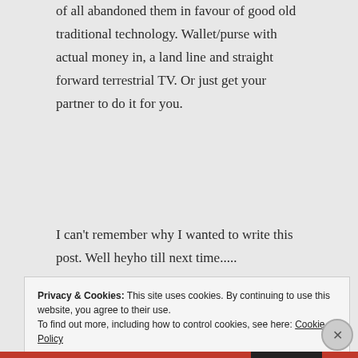of all abandoned them in favour of good old traditional technology. Wallet/purse with actual money in, a land line and straight forward terrestrial TV. Or just get your partner to do it for you.
I can't remember why I wanted to write this post. Well heyho till next time.....
[Figure (photo): Close-up photo of an ATM machine showing a card slot area, illuminated green button, and dark metallic surfaces]
Privacy & Cookies: This site uses cookies. By continuing to use this website, you agree to their use.
To find out more, including how to control cookies, see here: Cookie Policy
Close and accept